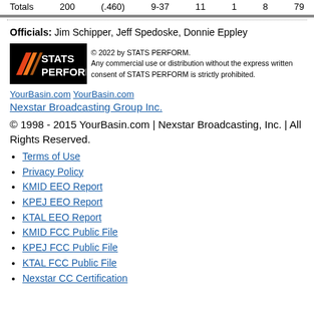| Totals | 200 | (.460) | 9-37 | 11 | 1 | 8 | 79 |
Officials: Jim Schipper, Jeff Spedoske, Donnie Eppley
[Figure (logo): STATS PERFORM logo with orange/red slash marks on black background, with copyright text: © 2022 by STATS PERFORM. Any commercial use or distribution without the express written consent of STATS PERFORM is strictly prohibited.]
YourBasin.com YourBasin.com
Nexstar Broadcasting Group Inc.
© 1998 - 2015 YourBasin.com | Nexstar Broadcasting, Inc. | All Rights Reserved.
Terms of Use
Privacy Policy
KMID EEO Report
KPEJ EEO Report
KTAL EEO Report
KMID FCC Public File
KPEJ FCC Public File
KTAL FCC Public File
Nexstar CC Certification